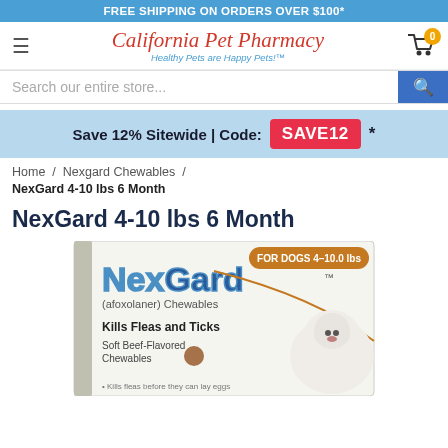FREE SHIPPING ON ORDERS OVER $100*
[Figure (logo): California Pet Pharmacy logo with tagline 'Healthy Pets are Happy Pets!™']
Search our entire store...
Save 12% Sitewide | Code: SAVE12*
Home / Nexgard Chewables /
NexGard 4-10 lbs 6 Month
NexGard 4-10 lbs 6 Month
[Figure (photo): NexGard (afoxolaner) Chewables product box for dogs 4-10.0 lbs, showing box with dog image, text: Kills Fleas and Ticks, Soft Beef-Flavored Chewables]